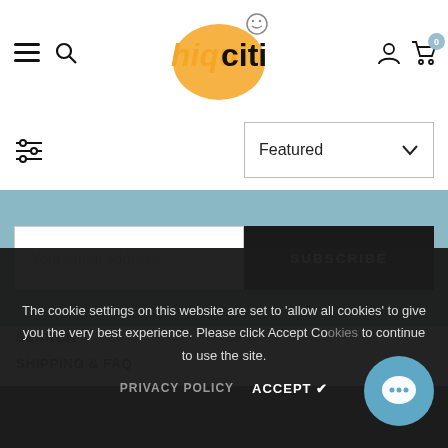[Figure (logo): HiquCiti brand logo with stylized orange and black text]
[Figure (other): Hamburger menu icon and search icon on left; account and cart icons on right in header]
[Figure (other): Filter/sliders icon on left; Featured dropdown on right]
Your email address
SUBSCRIBE
SEARCH
SHIPPING & FAQ
CONTACT US
ABOUT US
PRIVACY POLICY
The cookie settings on this website are set to 'allow all cookies' to give you the very best experience. Please click Accept Cookies to continue to use the site.
PRIVACY POLICY   ACCEPT ✔